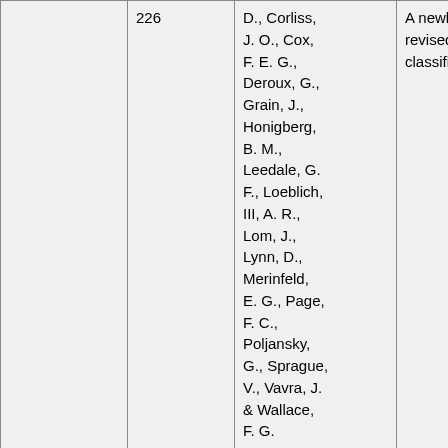|  | Page | Author(s) | Title |
| --- | --- | --- | --- |
|  | 226 | Levine, H. D., Corliss, J. O., Cox, F. E. G., Deroux, G., Grain, J., Honigberg, B. M., Leedale, G. F., Loeblich, III, A. R., Lom, J., Lynn, D., Merinfeld, E. G., Page, F. C., Poljansky, G., Sprague, V., Vavra, J. & Wallace, F. G. | A newly revised classification of… |
|  | 263 | Nakahara, H. & Sako, Y. | 2. Life history of phytoplankton [… syokubutsu pura… seikatsushi]. |